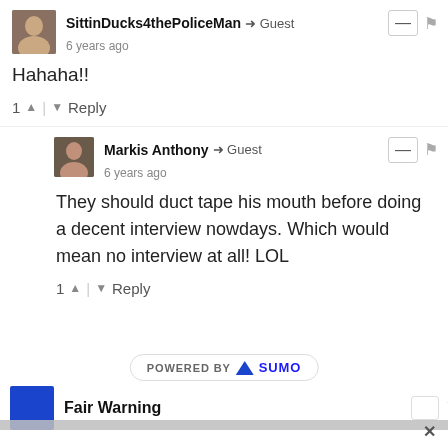SittinDucks4thePoliceMan → Guest
6 years ago
Hahaha!!
1 ↑ | ↓ Reply
Markis Anthony → Guest
6 years ago
They should duct tape his mouth before doing a decent interview nowdays. Which would mean no interview at all! LOL
1 ↑ | ↓ Reply
POWERED BY SUMO
Fair Warning
Sign Up For News
Everything Van Halen - delivered to your inbox!
Enter your email address
SIGN ME UP!